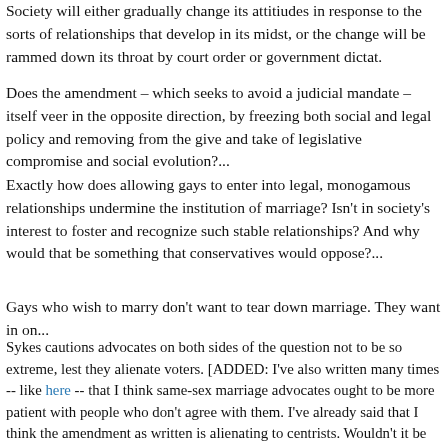Society will either gradually change its attitiudes in response to the sorts of relationships that develop in its midst, or the change will be rammed down its throat by court order or government dictat.
Does the amendment – which seeks to avoid a judicial mandate – itself veer in the opposite direction, by freezing both social and legal policy and removing from the give and take of legislative compromise and social evolution?...
Exactly how does allowing gays to enter into legal, monogamous relationships undermine the institution of marriage? Isn't in society's interest to foster and recognize such stable relationships? And why would that be something that conservatives would oppose?...
Gays who wish to marry don't want to tear down marriage. They want in on...
Sykes cautions advocates on both sides of the question not to be so extreme, lest they alienate voters. [ADDED: I've also written many times -- like here -- that I think same-sex marriage advocates ought to be more patient with people who don't agree with them. I've already said that I think the amendment as written is alienating to centrists. Wouldn't it be nice if the political debate on the amendment, instead of stirring up hostility, b...